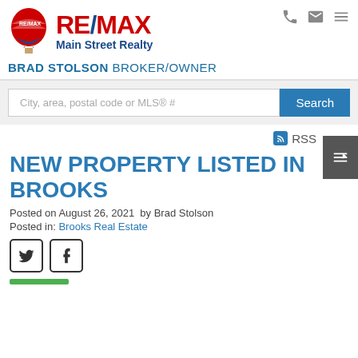[Figure (logo): RE/MAX Main Street Realty logo with hot air balloon icon]
BRAD STOLSON BROKER/OWNER
City, area, postal code or MLS® #
Search
RSS
NEW PROPERTY LISTED IN BROOKS
Posted on August 26, 2021  by Brad Stolson
Posted in: Brooks Real Estate